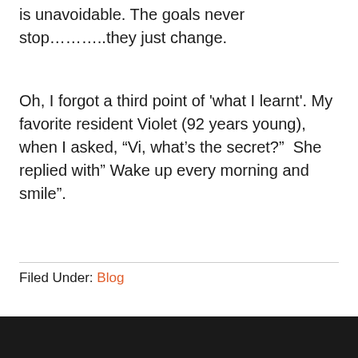is unavoidable. The goals never stop………..they just change.
Oh, I forgot a third point of 'what I learnt'. My favorite resident Violet (92 years young), when I asked, “Vi, what’s the secret?”  She replied with” Wake up every morning and smile”.
Filed Under: Blog